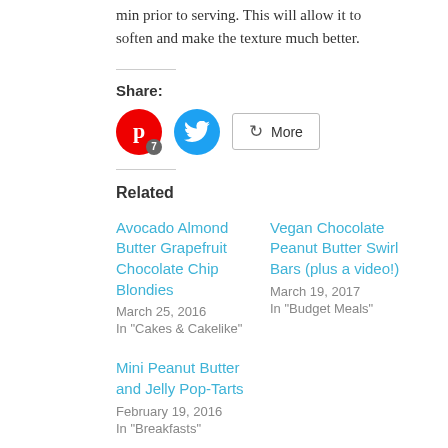min prior to serving. This will allow it to soften and make the texture much better.
Share:
[Figure (infographic): Social sharing buttons: Pinterest (with badge 7), Twitter, and a More button]
Related
Avocado Almond Butter Grapefruit Chocolate Chip Blondies
March 25, 2016
In "Cakes & Cakelike"
Vegan Chocolate Peanut Butter Swirl Bars (plus a video!)
March 19, 2017
In "Budget Meals"
Mini Peanut Butter and Jelly Pop-Tarts
February 19, 2016
In "Breakfasts"